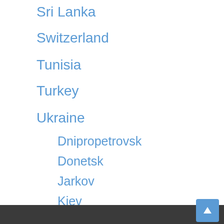Sri Lanka
Switzerland
Tunisia
Turkey
Ukraine
Dnipropetrovsk
Donetsk
Jarkov
Kiev
Krivoy Rog
Leopoli
Mariupol
Mikolaiv